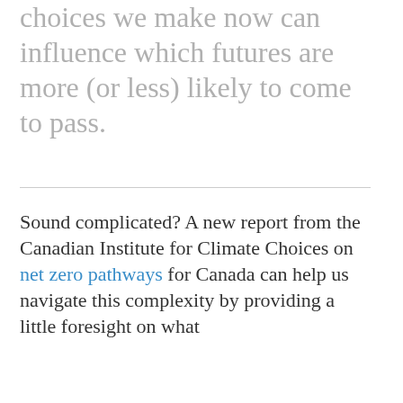choices we make now can influence which futures are more (or less) likely to come to pass.
Sound complicated? A new report from the Canadian Institute for Climate Choices on net zero pathways for Canada can help us navigate this complexity by providing a little foresight on what